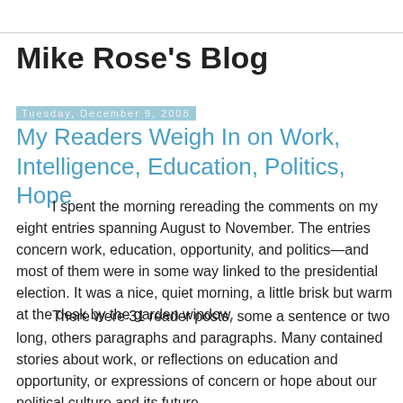Mike Rose's Blog
Tuesday, December 9, 2008
My Readers Weigh In on Work, Intelligence, Education, Politics, Hope
I spent the morning rereading the comments on my eight entries spanning August to November. The entries concern work, education, opportunity, and politics—and most of them were in some way linked to the presidential election. It was a nice, quiet morning, a little brisk but warm at the desk by the garden window.
There were 31 reader posts, some a sentence or two long, others paragraphs and paragraphs. Many contained stories about work, or reflections on education and opportunity, or expressions of concern or hope about our political culture and its future.